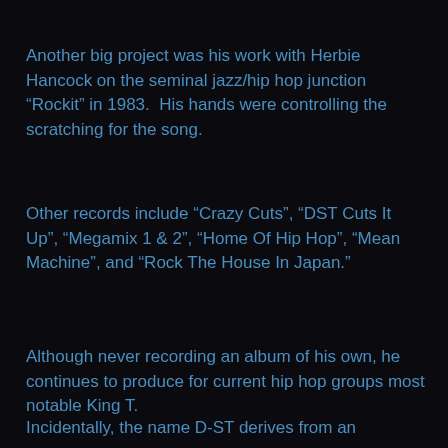Another big project was his work with Herbie Hancock on the seminal jazz/hip hop junction “Rockit” in 1983.  His hands were controlling the scratching for the song.
Other records include “Crazy Cuts”, “DST Cuts It Up”, “Megamix 1 & 2”, “Home Of Hip Hop”, “Mean Machine”, and “Rock The House In Japan.”
Although never recording an album of his own, he continues to produce for current hip hop groups most notable King T.
Incidentally, the name D-ST derives from an